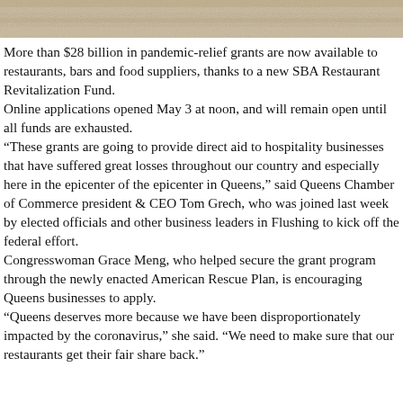[Figure (photo): Textured stone or concrete surface header image]
More than $28 billion in pandemic-relief grants are now available to restaurants, bars and food suppliers, thanks to a new SBA Restaurant Revitalization Fund. Online applications opened May 3 at noon, and will remain open until all funds are exhausted. “These grants are going to provide direct aid to hospitality businesses that have suffered great losses throughout our country and especially here in the epicenter of the epicenter in Queens,” said Queens Chamber of Commerce president & CEO Tom Grech, who was joined last week by elected officials and other business leaders in Flushing to kick off the federal effort. Congresswoman Grace Meng, who helped secure the grant program through the newly enacted American Rescue Plan, is encouraging Queens businesses to apply. “Queens deserves more because we have been disproportionately impacted by the coronavirus,” she said. “We need to make sure that our restaurants get their fair share back.”